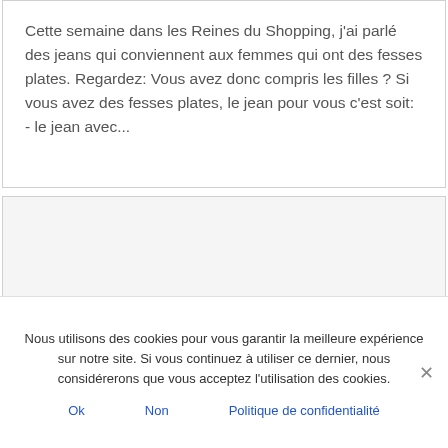Cette semaine dans les Reines du Shopping, j'ai parlé des jeans qui conviennent aux femmes qui ont des fesses plates. Regardez: Vous avez donc compris les filles ? Si vous avez des fesses plates, le jean pour vous c'est soit: - le jean avec...
[Figure (other): Gray placeholder/advertisement box]
Nous utilisons des cookies pour vous garantir la meilleure expérience sur notre site. Si vous continuez à utiliser ce dernier, nous considérerons que vous acceptez l'utilisation des cookies.
Ok   Non   Politique de confidentialité